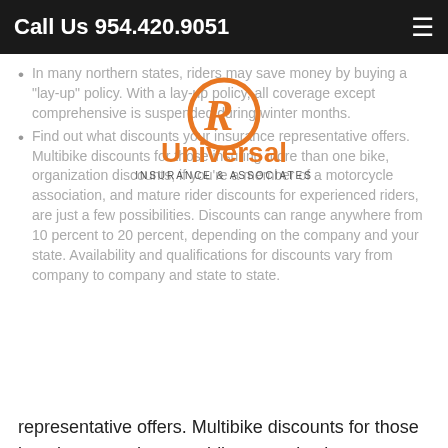Call Us 954.420.9051
In many northern states, riders may save money by buying a "lay-up" policy. With a lay-up policy, all coverage except comprehensive is suspended during winter months.
Find out what discounts your insurance representative offers.
[Figure (logo): Universal Insurance & Associates logo — orange circle with stylized R and the word Universal below, with INSURANCE & ASSOCIATES text]
representative offers. Multibike discounts for those insuring more than one bike, organization discounts, if you're a member of a motorcycle association, and mature rider discounts for experienced riders, are just a few possibilities. Discounts can range anywhere from 10 percent to 20 percent, depending on the company and your state. Availability and qualifications for discounts vary from company to company and state to state.
Keep in mind that the type, style (such as a sports bike vs. a cruiser) and age of the motorcycle, as well as the number of miles